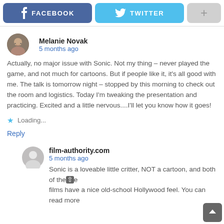[Figure (screenshot): Social share buttons bar: Facebook (blue), Twitter (cyan), Plus (gray)]
Melanie Novak
5 months ago
Actually, no major issue with Sonic. Not my thing – never played the game, and not much for cartoons. But if people like it, it's all good with me. The talk is tomorrow night – stopped by this morning to check out the room and logistics. Today I'm tweaking the presentation and practicing. Excited and a little nervous....I'll let you know how it goes!
★ Loading...
Reply
film-authority.com
5 months ago
Sonic is a loveable little critter, NOT a cartoon, and both of these films have a nice old-school Hollywood feel. You can read more